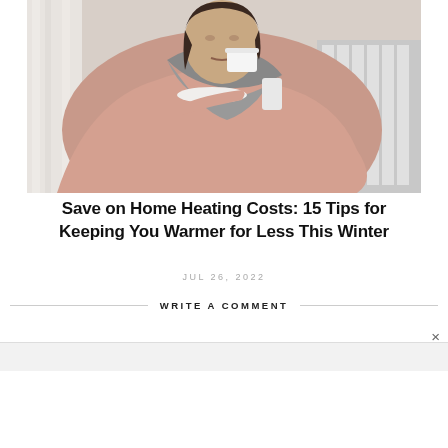[Figure (photo): Woman wrapped in pink blanket sitting near a radiator, drinking from a white cup]
Save on Home Heating Costs: 15 Tips for Keeping You Warmer for Less This Winter
JUL 26, 2022
WRITE A COMMENT